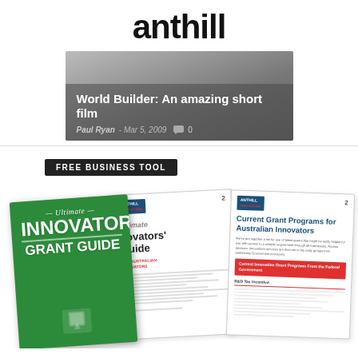anthill
[Figure (screenshot): Hero image with dark gradient background showing article title 'World Builder: An amazing short film' by Paul Ryan, Mar 5, 2009, with comment icon and 0 comments]
FREE BUSINESS TOOL
[Figure (photo): Promotional image showing the Ultimate Innovators' Grant Guide book cover (green, with silhouette figure) and open book pages showing 'Current Grant Programs for Australian Innovators']